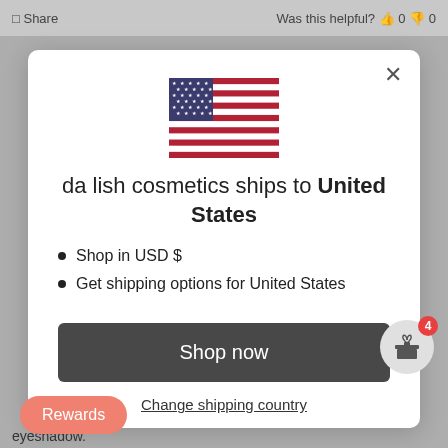Share   Was this helpful? 0 0
[Figure (illustration): US flag emoji/icon centered in modal]
da lish cosmetics ships to United States
Shop in USD $
Get shipping options for United States
Shop now
Change shipping country
Rewards
eyeshadow.